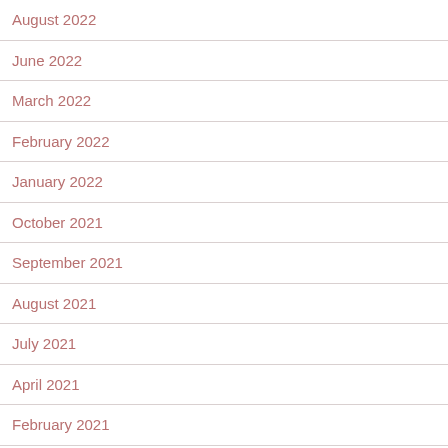August 2022
June 2022
March 2022
February 2022
January 2022
October 2021
September 2021
August 2021
July 2021
April 2021
February 2021
January 2021
December 2020